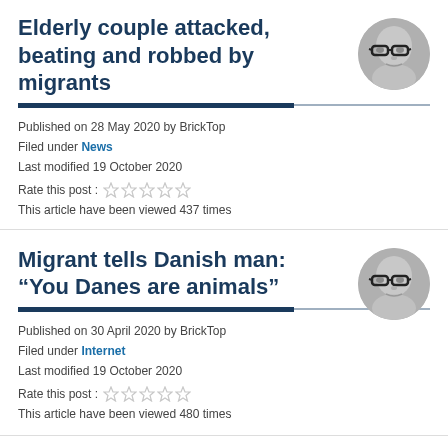Elderly couple attacked, beating and robbed by migrants
Published on 28 May 2020 by BrickTop
Filed under News
Last modified 19 October 2020
Rate this post :
This article have been viewed 437 times
[Figure (photo): Avatar image of a man with glasses]
Migrant tells Danish man: “You Danes are animals”
Published on 30 April 2020 by BrickTop
Filed under Internet
Last modified 19 October 2020
Rate this post :
This article have been viewed 480 times
[Figure (photo): Avatar image of a man with glasses]